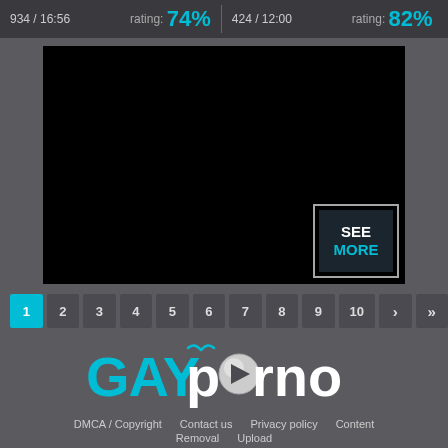934 / 16:56   rating: 74%   424 / 12:00   rating: 82%
[Figure (screenshot): Black video player thumbnail with 'SEE MORE' button overlay in bottom-right corner]
1 2 3 4 5 6 7 8 9 10 › »
[Figure (logo): GAYporno website logo with cyan GAY text, white porno text and play button icon]
DMCA / Copyright   Contact us   Privacy policy   Content   Removal   Upload